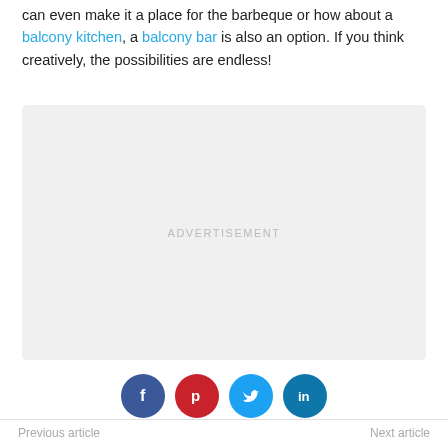can even make it a place for the barbeque or how about a balcony kitchen, a balcony bar is also an option. If you think creatively, the possibilities are endless!
[Figure (other): Advertisement placeholder box with light gray background and 'ADVERTISEMENT' text centered]
[Figure (infographic): Social sharing buttons: Facebook (dark blue), Pinterest (red), Twitter (light blue), LinkedIn (blue)]
Previous article    Next article